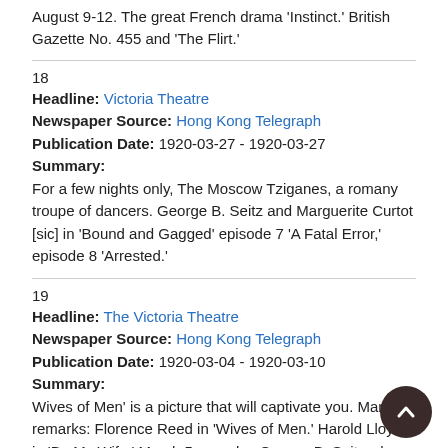August 9-12. The great French drama 'Instinct.' British Gazette No. 455 and 'The Flirt.'
18
Headline: Victoria Theatre
Newspaper Source: Hong Kong Telegraph
Publication Date: 1920-03-27 - 1920-03-27
Summary:
For a few nights only, The Moscow Tziganes, a romany troupe of dancers. George B. Seitz and Marguerite Curtot [sic] in 'Bound and Gagged' episode 7 'A Fatal Error,' episode 8 'Arrested.'
19
Headline: The Victoria Theatre
Newspaper Source: Hong Kong Telegraph
Publication Date: 1920-03-04 - 1920-03-10
Summary:
Wives of Men' is a picture that will captivate you. March 4 remarks: Florence Reed in 'Wives of Men.' Harold Lloyd in 'Be My Wife.' March 5 remarks: George B. Seitz who directed and produced the